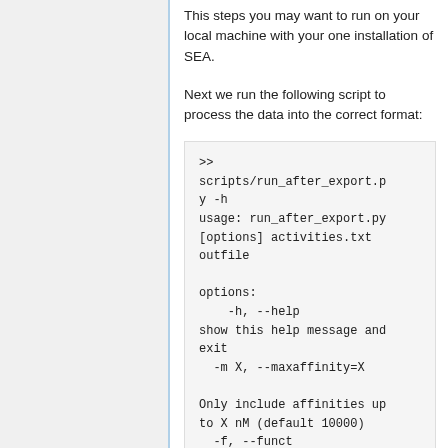This steps you may want to run on your local machine with your one installation of SEA.
Next we run the following script to process the data into the correct format:
>> scripts/run_after_export.py -h
usage: run_after_export.py [options] activities.txt outfile

options:
    -h, --help
show this help message and exit
  -m X, --maxaffinity=X

Only include affinities up to X nM (default 10000)
  -f, --funct
Work with functional data